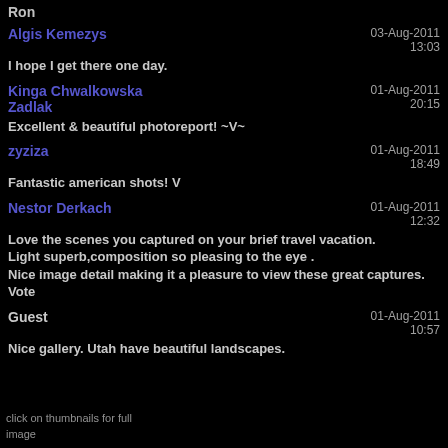Ron
Algis Kemezys
03-Aug-2011 13:03
I hope I get there one day.
Kinga Chwalkowska Zadlak
01-Aug-2011 20:15
Excellent & beautiful photoreport! ~V~
zyziza
01-Aug-2011 18:49
Fantastic american shots! V
Nestor Derkach
01-Aug-2011 12:32
Love the scenes you captured on your brief travel vacation.
Light superb,composition so pleasing to the eye .
Nice image detail making it a pleasure to view these great captures.
Vote
Guest
01-Aug-2011 10:57
Nice gallery. Utah have beautiful landscapes.
click on thumbnails for full image